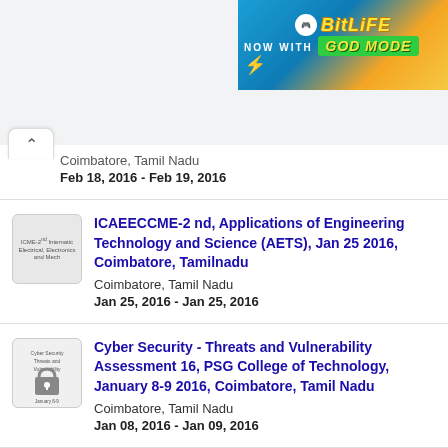[Figure (screenshot): BitLife ad banner - NOW WITH GOD MODE]
Coimbatore, Tamil Nadu
Feb 18, 2016 - Feb 19, 2016
ICAEECCME-2 nd, Applications of Engineering Technology and Science (AETS), Jan 25 2016, Coimbatore, Tamilnadu
Coimbatore, Tamil Nadu
Jan 25, 2016 - Jan 25, 2016
Cyber Security - Threats and Vulnerability Assessment 16, PSG College of Technology, January 8-9 2016, Coimbatore, Tamil Nadu
Coimbatore, Tamil Nadu
Jan 08, 2016 - Jan 09, 2016
ICCCI 2016, SSIET, January 7-9 2016